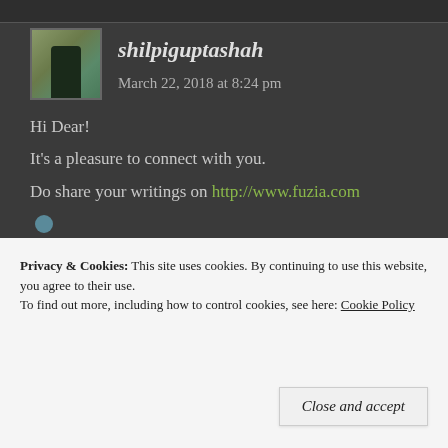[Figure (photo): Avatar photo of commenter shilpiguptashah]
shilpiguptashah   March 22, 2018 at 8:24 pm
Hi Dear!
It's a pleasure to connect with you.
Do share your writings on http://www.fuzia.com
It's a great place to support, share your works and
Privacy & Cookies: This site uses cookies. By continuing to use this website, you agree to their use.
To find out more, including how to control cookies, see here: Cookie Policy
Close and accept